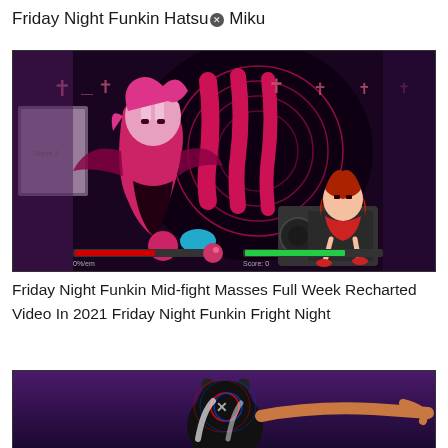Friday Night Funkin Hatsu✕ Miku
[Figure (screenshot): Screenshot of Friday Night Funkin Mid-fight Masses gameplay showing a pink-haired demon character and a red-haired girl on a speaker, dark purple background with glowing pink circles and cross symbols, health bars at bottom]
Friday Night Funkin Mid-fight Masses Full Week Recharted Video In 2021 Friday Night Funkin Fright Night
[Figure (screenshot): Screenshot of Friday Night Funkin showing a dark character with horns against a purple gradient background, partially visible at bottom of page]